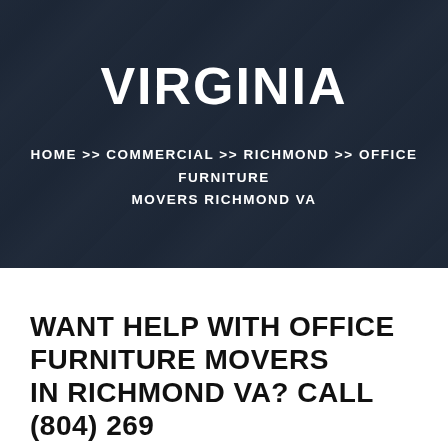VIRGINIA
HOME >> COMMERCIAL >> RICHMOND >> OFFICE FURNITURE MOVERS RICHMOND VA
WANT HELP WITH OFFICE FURNITURE MOVERS IN RICHMOND VA? CALL (804) 269 8866